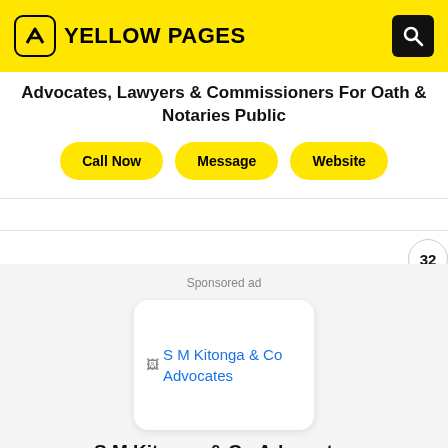YELLOW PAGES
Advocates, Lawyers & Commissioners For Oath & Notaries Public
Call Now | Message | Website
32
Sponsored ad
[Figure (logo): S M Kitonga & Co Advocates logo placeholder image]
S M Kitonga & Co Advocates